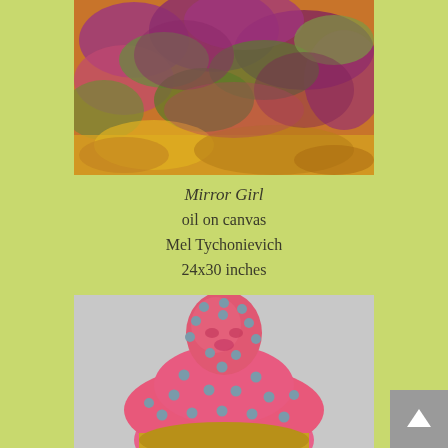[Figure (photo): Abstract oil painting with vivid purples, oranges, greens and yellows — textured impasto strokes suggesting foliage or reflections.]
Mirror Girl
oil on canvas
Mel Tychonievich
24x30 inches
[Figure (photo): Pink sculptural bust of a bald figure covered in teal/grey spherical beads, wearing a gold lower garment, against a light grey background.]